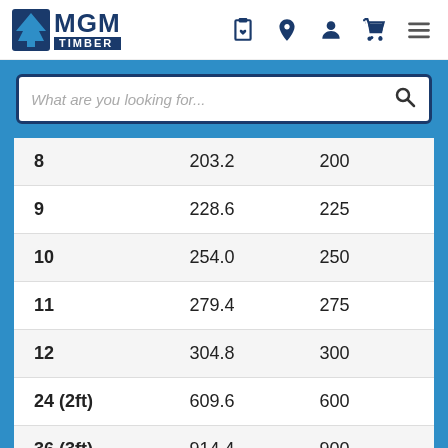[Figure (logo): MGM Timber logo with tree icon and blue text]
[Figure (screenshot): Search bar with placeholder text 'What are you looking for...' and search icon]
| 8 | 203.2 | 200 |
| 9 | 228.6 | 225 |
| 10 | 254.0 | 250 |
| 11 | 279.4 | 275 |
| 12 | 304.8 | 300 |
| 24 (2ft) | 609.6 | 600 |
| 36 (3ft) | 914.4 | 900 |